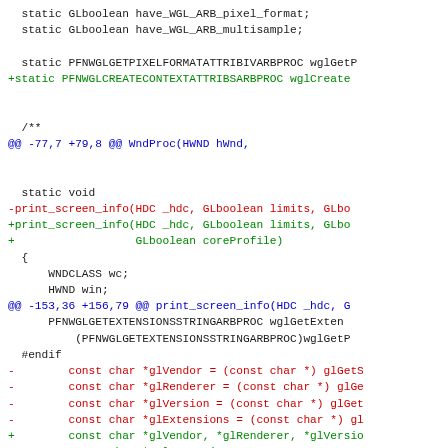Code diff showing changes to WGL/OpenGL screen info function, including addition of PFNWGLCREATECONTEXTATTRIBSARBPROC, wglCreateContext, print_screen_info signature changes, and variable declarations.